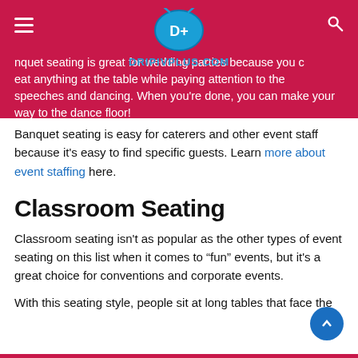DRIPIVPLUS.COM
Banquet seating is great for wedding parties because you can eat anything at the table while paying attention to the speeches and dancing. When you're done, you can make your way to the dance floor!
Banquet seating is easy for caterers and other event staff because it's easy to find specific guests. Learn more about event staffing here.
Classroom Seating
Classroom seating isn't as popular as the other types of event seating on this list when it comes to “fun” events, but it's a great choice for conventions and corporate events.
With this seating style, people sit at long tables that face the